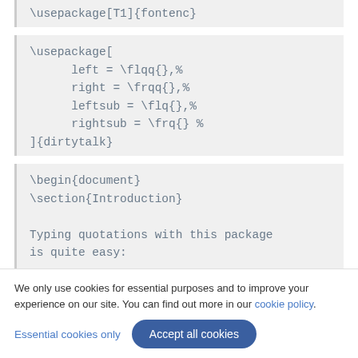\usepackage[T1]{fontenc}
\usepackage[
    left = \flqq{},%
    right = \frqq{},%
    leftsub = \flq{},%
    rightsub = \frq{} %
]{dirtytalk}
\begin{document}
\section{Introduction}
Typing quotations with this package
is quite easy:
We only use cookies for essential purposes and to improve your experience on our site. You can find out more in our cookie policy.
Essential cookies only
Accept all cookies